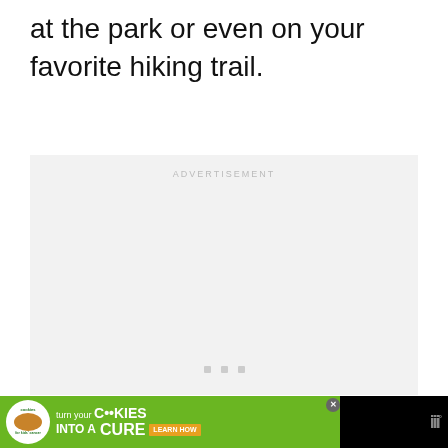at the park or even on your favorite hiking trail.
[Figure (other): Advertisement placeholder box with light gray background, 'ADVERTISEMENT' label at top center, and three small gray squares centered near the bottom]
[Figure (other): Bottom banner advertisement: black background on right with Taboola logo; green section on left with Cookies for Kids Cancer logo (white circle) and text 'turn your COOKIES into a CURE LEARN HOW' with a close/X button]